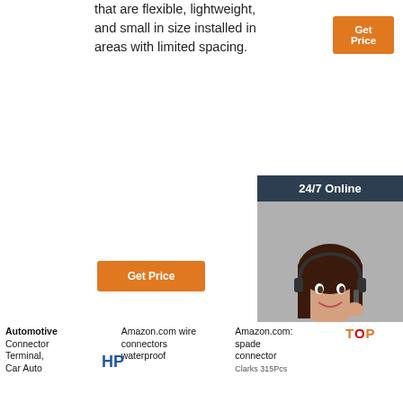that are flexible, lightweight, and small in size installed in areas with limited spacing.
[Figure (other): Orange 'Get Price' button at top]
[Figure (other): Orange 'Get Price' button in middle]
[Figure (other): 24/7 Online chat box with woman wearing headset, 'Click here for free chat!' text and QUOTATION button]
[Figure (photo): HP logo and blue automotive wire connector terminals product photos]
Automotive Connector Terminal, Car Auto
Amazon.com wire connectors waterproof
Amazon.com: spade connector
[Figure (logo): TOP logo in orange]